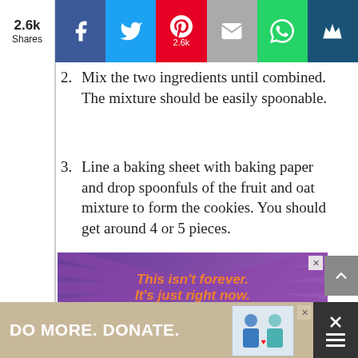[Figure (screenshot): Social share bar with 2.6k shares, Facebook, Twitter, Pinterest (2.6k), Email, WhatsApp, and crown/bookmark buttons]
2. Mix the two ingredients until combined. The mixture should be easily spoonable.
3. Line a baking sheet with baking paper and drop spoonfuls of the fruit and oat mixture to form the cookies. You should get around 4 or 5 pieces.
4. Bake for 15 minutes. Leave to cool down.
[Figure (screenshot): Purple advertisement banner reading 'This isn't forever. It's just right now.' in orange text with decorative rays]
[Figure (screenshot): Bottom advertisement banner reading 'DO MORE. DONATE.' with images of people on a tan/beige background]